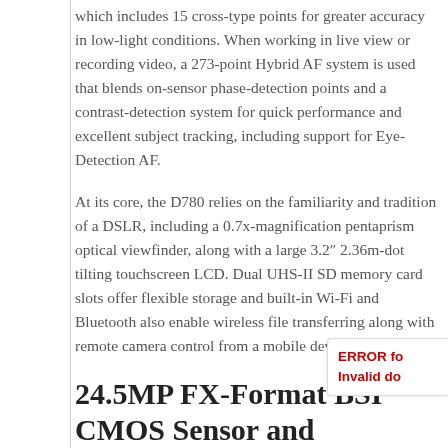which includes 15 cross-type points for greater accuracy in low-light conditions. When working in live view or recording video, a 273-point Hybrid AF system is used that blends on-sensor phase-detection points and a contrast-detection system for quick performance and excellent subject tracking, including support for Eye-Detection AF.
At its core, the D780 relies on the familiarity and tradition of a DSLR, including a 0.7x-magnification pentaprism optical viewfinder, along with a large 3.2″ 2.36m-dot tilting touchscreen LCD. Dual UHS-II SD memory card slots offer flexible storage and built-in Wi-Fi and Bluetooth also enable wireless file transferring along with remote camera control from a mobile device.
24.5MP FX-Format BSI CMOS Sensor and